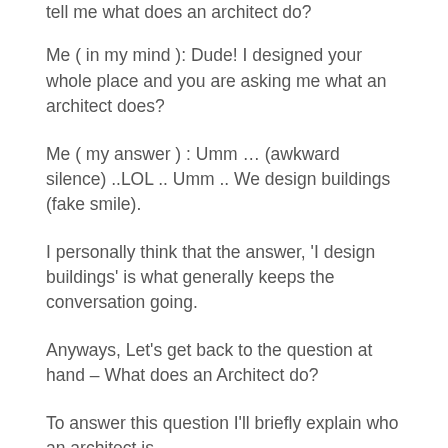tell me what does an architect do?
Me ( in my mind ): Dude! I designed your whole place and you are asking me what an architect does?
Me ( my answer ) : Umm … (awkward silence) ..LOL .. Umm .. We design buildings (fake smile).
I personally think that the answer, 'I design buildings' is what generally keeps the conversation going.
Anyways, Let's get back to the question at hand – What does an Architect do?
To answer this question I'll briefly explain who an architect is –
An architect plays a key role in the process of building,